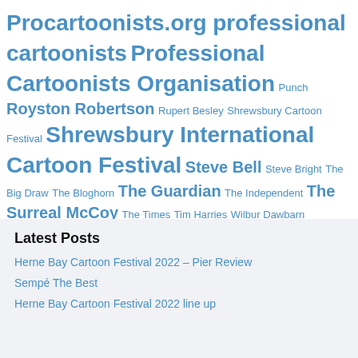Procartoonists.org professional cartoonists Professional Cartoonists Organisation Punch Royston Robertson Rupert Besley Shrewsbury Cartoon Festival Shrewsbury International Cartoon Festival Steve Bell Steve Bright The Big Draw The Bloghorn The Guardian The Independent The Surreal McCoy The Times Tim Harries Wilbur Dawbarn
Latest Posts
Herne Bay Cartoon Festival 2022 – Pier Review
Sempé The Best
Herne Bay Cartoon Festival 2022 line up